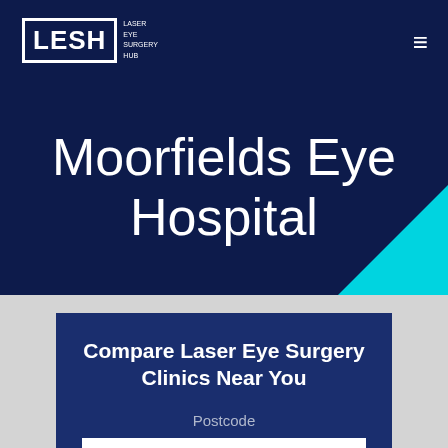LESH LASER EYE SURGERY HUB
Moorfields Eye Hospital
Compare Laser Eye Surgery Clinics Near You
Postcode